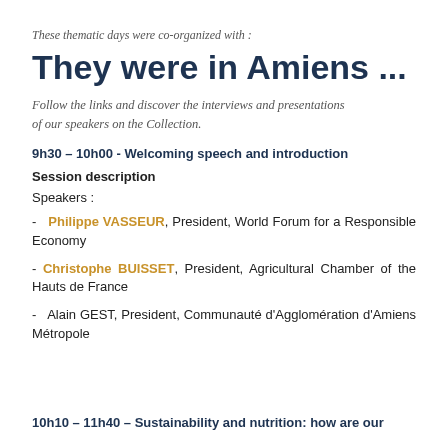These thematic days were co-organized with :
They were in Amiens ...
Follow the links and discover the interviews and presentations of our speakers on the Collection.
9h30 – 10h00 - Welcoming speech and introduction
Session description
Speakers :
- Philippe VASSEUR, President, World Forum for a Responsible Economy
- Christophe BUISSET, President, Agricultural Chamber of the Hauts de France
- Alain GEST, President, Communauté d'Agglomération d'Amiens Métropole
10h10 – 11h40 – Sustainability and nutrition: how are our